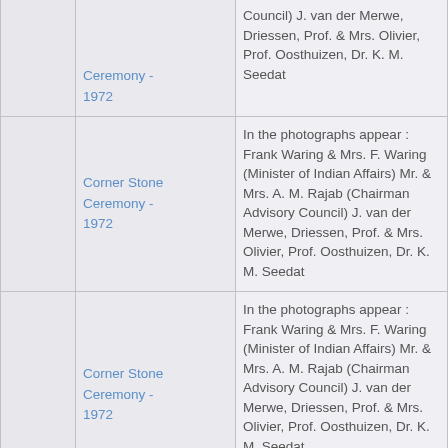|  | Event | Description |
| --- | --- | --- |
|  | Corner Stone Ceremony - 1972 | Council) J. van der Merwe, Driessen, Prof. & Mrs. Olivier, Prof. Oosthuizen, Dr. K. M. Seedat |
|  | Corner Stone Ceremony - 1972 | In the photographs appear : Frank Waring & Mrs. F. Waring (Minister of Indian Affairs) Mr. & Mrs. A. M. Rajab (Chairman Advisory Council) J. van der Merwe, Driessen, Prof. & Mrs. Olivier, Prof. Oosthuizen, Dr. K. M. Seedat |
|  | Corner Stone Ceremony - 1972 | In the photographs appear : Frank Waring & Mrs. F. Waring (Minister of Indian Affairs) Mr. & Mrs. A. M. Rajab (Chairman Advisory Council) J. van der Merwe, Driessen, Prof. & Mrs. Olivier, Prof. Oosthuizen, Dr. K. M. Seedat |